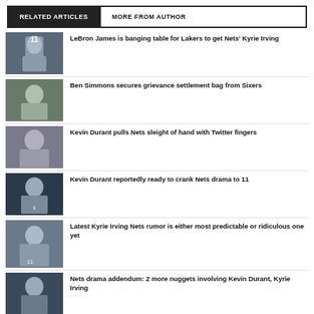RELATED ARTICLES | MORE FROM AUTHOR
LeBron James is banging table for Lakers to get Nets' Kyrie Irving
Ben Simmons secures grievance settlement bag from Sixers
Kevin Durant pulls Nets sleight of hand with Twitter fingers
Kevin Durant reportedly ready to crank Nets drama to 11
Latest Kyrie Irving Nets rumor is either most predictable or ridiculous one yet
Nets drama addendum: 2 more nuggets involving Kevin Durant, Kyrie Irving